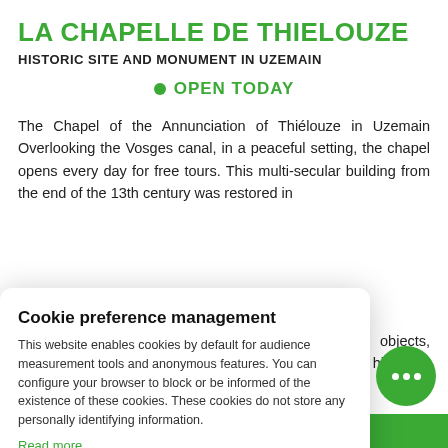LA CHAPELLE DE THIELOUZE
HISTORIC SITE AND MONUMENT IN UZEMAIN
• OPEN TODAY
The Chapel of the Annunciation of Thiélouze in Uzemain Overlooking the Vosges canal, in a peaceful setting, the chapel opens every day for free tours. This multi-secular building from the end of the 13th century was restored in
Cookie preference management
This website enables cookies by default for audience measurement tools and anonymous features. You can configure your browser to block or be informed of the existence of these cookies. These cookies do not store any personally identifying information.
Read more
No thanks    I choose    Ok for me